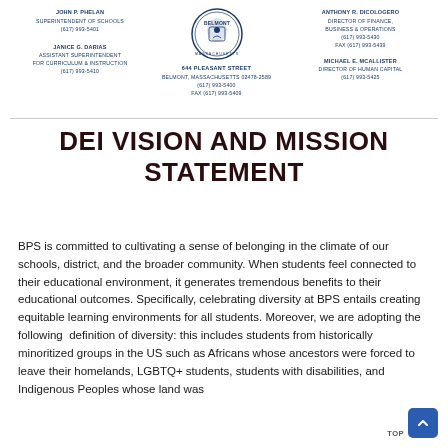John P. Phelan
Superintendent of Schools
(617) 993-5401

Janice G. Darias
Assistant Superintendent
For Curriculum & Instruction
(617) 993-5410

644 Pleasant Street
Belmont, Massachusetts 02478-2589
(617) 993-5400
Fax (617) 993-5409

Anthony R. DiCologero
Director of Finance,
Business & Operations
(617) 993-5430
Fax (617) 993-5439

Michael E. McAllister
Director of Human Capital
(617) 993-5425
DEI VISION AND MISSION STATEMENT
BPS is committed to cultivating a sense of belonging in the climate of our schools, district, and the broader community. When students feel connected to their educational environment, it generates tremendous benefits to their educational outcomes. Specifically, celebrating diversity at BPS entails creating equitable learning environments for all students. Moreover, we are adopting the following definition of diversity: this includes students from historically minoritized groups in the US such as Africans whose ancestors were forced to leave their homelands, LGBTQ+ students, students with disabilities, and Indigenous Peoples whose land was